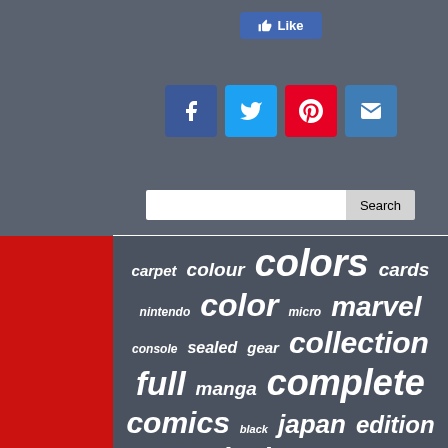[Figure (screenshot): Social media like button and share icons (Facebook, Twitter, Pinterest, Email) on a gray background]
[Figure (screenshot): Search bar with Search button on gray background]
[Figure (infographic): Tag cloud on dark gray background with words: carpet, colour, colors, cards, nintendo, color, micro, marvel, console, sealed, gear, collection, full, manga, complete, comics, black, japan, edition, game, vinyl, comic, limited, golf, silver, series, rare, choose]